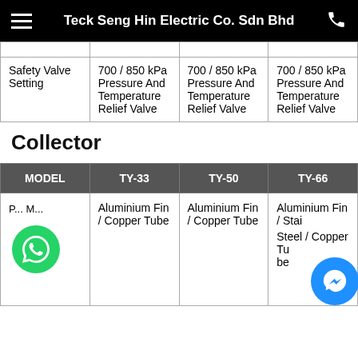Teck Seng Hin Electric Co. Sdn Bhd
|  |  |  |  |
| --- | --- | --- | --- |
| Safety Valve Setting | 700 / 850 kPa Pressure And Temperature Relief Valve | 700 / 850 kPa Pressure And Temperature Relief Valve | 700 / 850 kPa Pressure And Temperature Relief Valve |
Collector
| MODEL | TY-33 | TY-50 | TY-66 |
| --- | --- | --- | --- |
| Plate / Material | Aluminium Fin / Copper Tube | Aluminium Fin / Copper Tube | Aluminium Fin / Stainless Steel / Copper Tube |